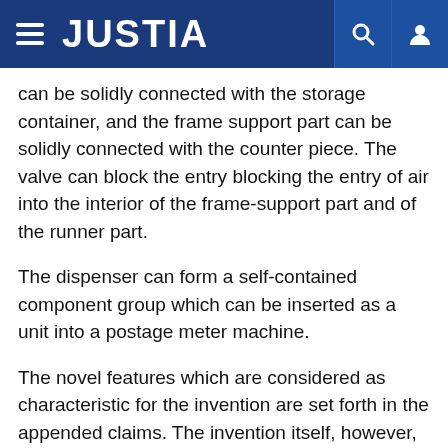JUSTIA
can be solidly connected with the storage container, and the frame support part can be solidly connected with the counter piece. The valve can block the entry blocking the entry of air into the interior of the frame-support part and of the runner part.
The dispenser can form a self-contained component group which can be inserted as a unit into a postage meter machine.
The novel features which are considered as characteristic for the invention are set forth in the appended claims. The invention itself, however, both as to its construction and its method of operation, together with additional objects and advantages thereof, will be best, understood from the following description of specific embodiments when read in connection with the accompanying drawing.